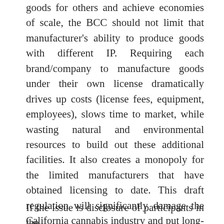goods for others and achieve economies of scale, the BCC should not limit that manufacturer's ability to produce goods with different IP. Requiring each brand/company to manufacture goods under their own license dramatically drives up costs (license fees, equipment, employees), slows time to market, while wasting natural and environmental resources to build out these additional facilities. It also creates a monopoly for the limited manufacturers that have obtained licensing to date. This draft regulation will significantly damage the California cannabis industry and put long-standing companies out of business through an immediate devaluation.
If the issue is disclosure of participants in the